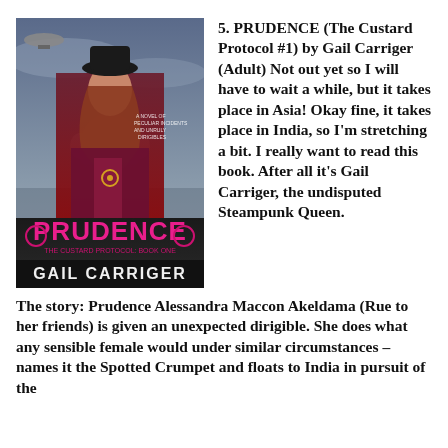[Figure (photo): Book cover of PRUDENCE (The Custard Protocol, Book One) by Gail Carriger, featuring a steampunk woman in Victorian attire with a dirigible in the background and the Taj Mahal.]
5. PRUDENCE (The Custard Protocol #1) by Gail Carriger (Adult) Not out yet so I will have to wait a while, but it takes place in Asia! Okay fine, it takes place in India, so I'm stretching a bit. I really want to read this book. After all it's Gail Carriger, the undisputed Steampunk Queen.
The story: Prudence Alessandra Maccon Akeldama (Rue to her friends) is given an unexpected dirigible. She does what any sensible female would under similar circumstances – names it the Spotted Crumpet and floats to India in pursuit of the